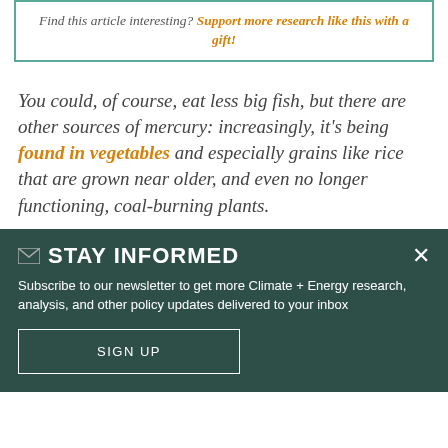Find this article interesting? Support more research like this with a gift!
You could, of course, eat less big fish, but there are other sources of mercury: increasingly, it's being found in vegetables and especially grains like rice that are grown near older, and even no longer functioning, coal-burning plants.
STAY INFORMED
Subscribe to our newsletter to get more Climate + Energy research, analysis, and other policy updates delivered to your inbox
SIGN UP